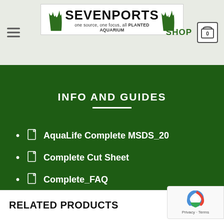Sevenports — one source, one focus, all PLANTED AQUARIUM
INFO AND GUIDES
AquaLife Complete MSDS_20
Complete Cut Sheet
Complete_FAQ
RELATED PRODUCTS